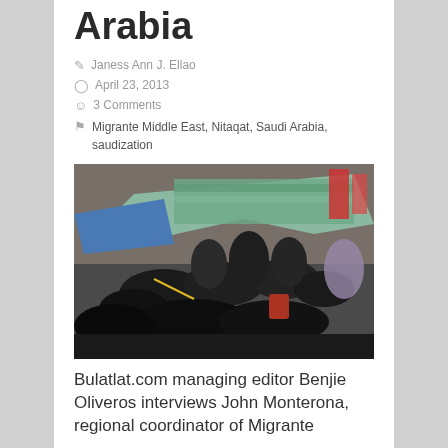Arabia
Janess Ann J. Ellao
April 23, 2013
3 Comments
Migrante Middle East, Nitaqat, Saudi Arabia, saudization
[Figure (photo): Outdoor scene showing a group of people resting under colorful tarps and tents, with laundry and bags visible in the background.]
Bulatlat.com managing editor Benjie Oliveros interviews John Monterona, regional coordinator of Migrante...